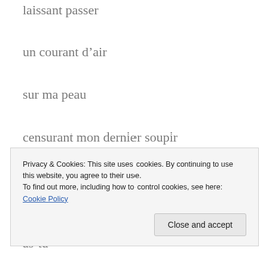laissant passer
un courant d’air
sur ma peau
censurant mon dernier soupir
de dignité
as-tu
senti mon cœur
Privacy & Cookies: This site uses cookies. By continuing to use this website, you agree to their use.
To find out more, including how to control cookies, see here: Cookie Policy
Close and accept